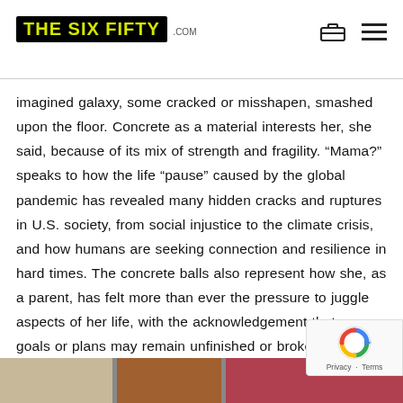THE SIX FIFTY .COM
imagined galaxy, some cracked or misshapen, smashed upon the floor. Concrete as a material interests her, she said, because of its mix of strength and fragility. “Mama?” speaks to how the life “pause” caused by the global pandemic has revealed many hidden cracks and ruptures in U.S. society, from social injustice to the climate crisis, and how humans are seeking connection and resilience in hard times. The concrete balls also represent how she, as a parent, has felt more than ever the pressure to juggle aspects of her life, with the acknowledgement that many goals or plans may remain unfinished or broken; a mama bearing “the heaviness o
[Figure (photo): Bottom strip showing a partial view of colorful patterned fabric or artwork panels]